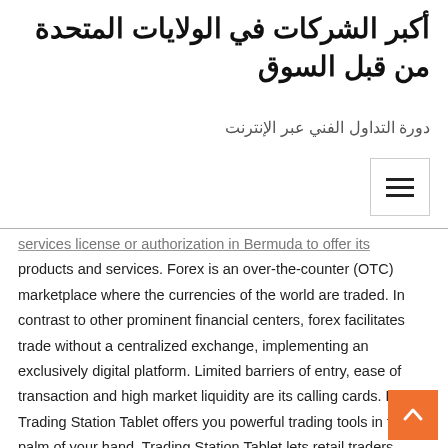أكبر الشركات في الولايات المتحدة من قبل السوق
دورة التداول الفني عبر الإنترنت
services license or authorization in Bermuda to offer its products and services. Forex is an over-the-counter (OTC) marketplace where the currencies of the world are traded. In contrast to other prominent financial centers, forex facilitates trade without a centralized exchange, implementing an exclusively digital platform. Limited barriers of entry, ease of transaction and high market liquidity are its calling cards. FXCM Trading Station Tablet offers you powerful trading tools in the palm of your hand. Trading Station Tablet lets retail traders quickly and easily access the forex and CFD* markets. Forex and CFD trades can be placed and managed on the go through Trading Station's simple, intuitive interface. • Trade Forex, Silver, Platinum, Palladium, Copper, Oil, Gas, S&P, Dow Jones, DAX, CAC